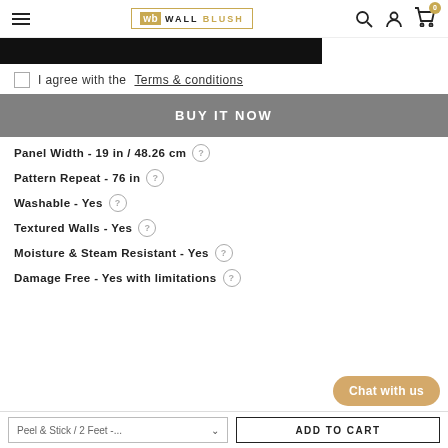Wall Blush — navigation header with hamburger menu, logo, search, account, and cart icons
[Figure (screenshot): Cropped bottom of a product image showing a black bar]
I agree with the Terms & conditions
BUY IT NOW
Panel Width - 19 in / 48.26 cm
Pattern Repeat - 76 in
Washable - Yes
Textured Walls - Yes
Moisture & Steam Resistant - Yes
Damage Free - Yes with limitations
Peel & Stick / 2 Feet -...
ADD TO CART
Chat with us